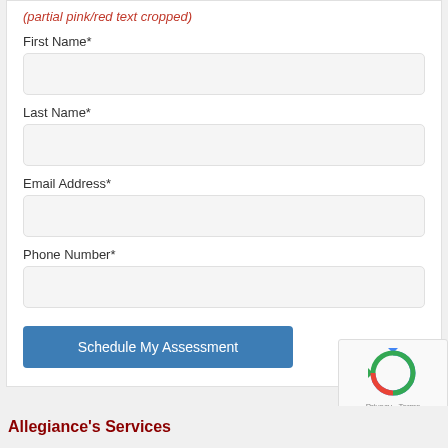(partial title in red/pink — cropped at top)
First Name*
Last Name*
Email Address*
Phone Number*
Schedule My Assessment
[Figure (logo): reCAPTCHA logo with recycle arrows icon, showing Privacy and Terms text]
Allegiance's Services